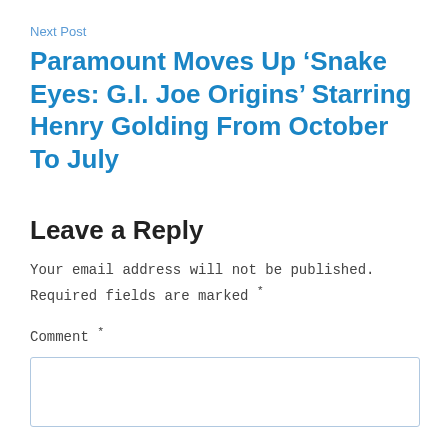Next Post
Paramount Moves Up ‘Snake Eyes: G.I. Joe Origins’ Starring Henry Golding From October To July
Leave a Reply
Your email address will not be published. Required fields are marked *
Comment *